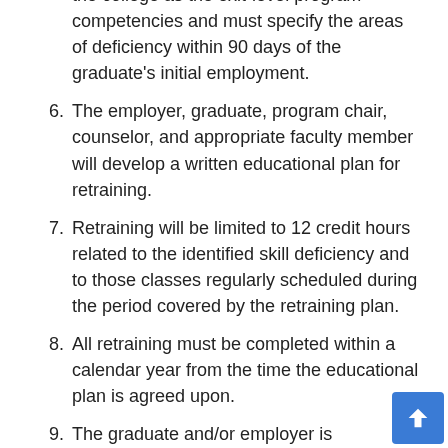the college as the exit-level program competencies and must specify the areas of deficiency within 90 days of the graduate's initial employment.
6. The employer, graduate, program chair, counselor, and appropriate faculty member will develop a written educational plan for retraining.
7. Retraining will be limited to 12 credit hours related to the identified skill deficiency and to those classes regularly scheduled during the period covered by the retraining plan.
8. All retraining must be completed within a calendar year from the time the educational plan is agreed upon.
9. The graduate and/or employer is responsible for the cost of books, insurance, uniforms, fees, and other course-related expenses.